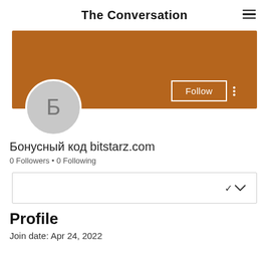The Conversation
[Figure (other): User profile banner in brown/orange color with Follow button and avatar showing Cyrillic letter Б]
Бонусный код bitstarz.com
0 Followers • 0 Following
Profile
Join date: Apr 24, 2022